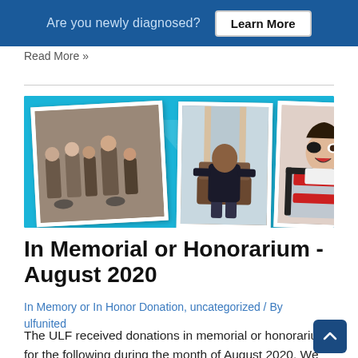Are you newly diagnosed? Learn More
Read More »
[Figure (photo): Collage of three polaroid-style photos on a teal background: left shows a group of people including wheelchair users, center shows a young person sitting in a chair, right shows a smiling child in a wheelchair/medical device.]
In Memorial or Honorarium - August 2020
In Memory or In Honor Donation, uncategorized / By ulfunited
The ULF received donations in memorial or honorarium for the following during the month of August 2020. We